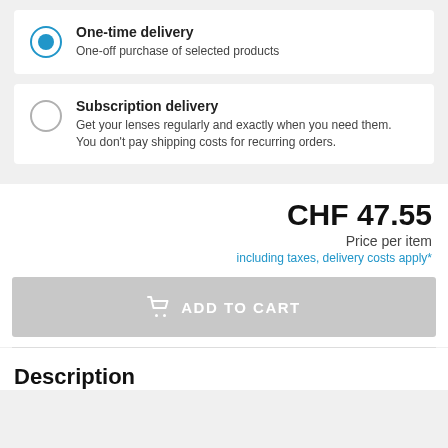One-time delivery — One-off purchase of selected products
Subscription delivery — Get your lenses regularly and exactly when you need them. You don't pay shipping costs for recurring orders.
CHF 47.55
Price per item
including taxes, delivery costs apply*
ADD TO CART
Description